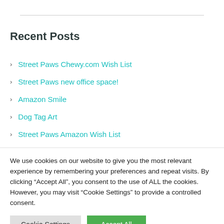Recent Posts
Street Paws Chewy.com Wish List
Street Paws new office space!
Amazon Smile
Dog Tag Art
Street Paws Amazon Wish List
We use cookies on our website to give you the most relevant experience by remembering your preferences and repeat visits. By clicking “Accept All”, you consent to the use of ALL the cookies. However, you may visit “Cookie Settings” to provide a controlled consent.